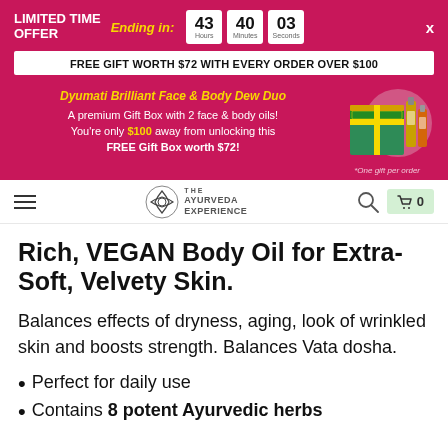LIMITED TIME OFFER | Ending in: 43 Hours 40 Minutes 03 Seconds
FREE GIFT WORTH $72 WITH EVERY ORDER OVER $100
Dyumati Brilliant Face & Body Dew Duo
A premium Gift Box with 2 face & body oils!
You're only $100 away from unlocking this FREE Gift Box worth $72!
*One gift per order
Rich, VEGAN Body Oil for Extra-Soft, Velvety Skin.
Balances effects of dryness, aging, look of wrinkled skin and boosts strength. Balances Vata dosha.
Perfect for daily use
Contains 8 potent Ayurvedic herbs